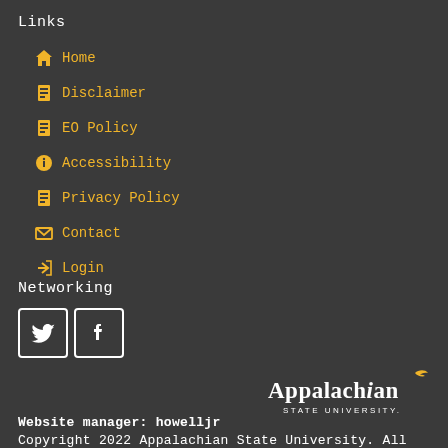Links
Home
Disclaimer
EO Policy
Accessibility
Privacy Policy
Contact
Login
Networking
[Figure (logo): Twitter and Facebook social media icons (white outlined boxes with bird and f symbols)]
[Figure (logo): Appalachian State University logo in white text with gold bird accent]
Website manager: howelljr
Copyright 2022 Appalachian State University. All rights reserved.